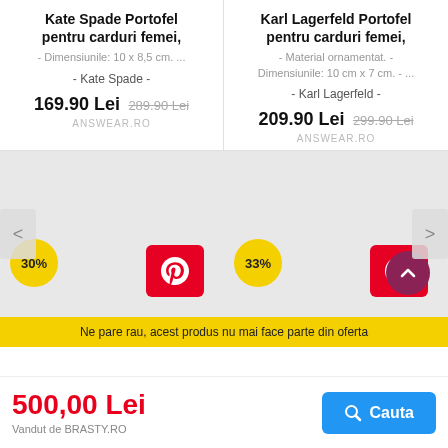Kate Spade Portofel pentru carduri femei,
- Dimensiunile: 10 x 8,5 cm. ...
- Kate Spade -
169.90 Lei - 289.90 Lei
ANSWEAR.RO
Karl Lagerfeld Portofel pentru carduri femei,
- Material ornamentat. - Dimensiunile: 10 cm x 7 cm. - ...
- Karl Lagerfeld -
209.90 Lei - 299.90 Lei
ANSWEAR.RO
[Figure (screenshot): Product image placeholder for Kate Spade wallet with 30% discount badge and Pinterest share button]
[Figure (screenshot): Product image placeholder for Karl Lagerfeld wallet with 33% discount badge and Pinterest share button]
Ne pare rau, acest produs nu mai face parte din oferta
500,00 Lei
Vandut de BRASTY.RO
Cauta